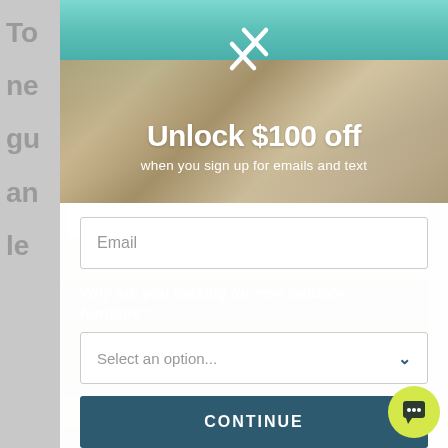[Figure (screenshot): Popup modal over an outdoor furniture webpage. Background shows partially visible article text on grey. Modal contains: close/X icon at top, photo of outdoor wicker furniture by a pool, headline 'Unlock $100 off', subheadline 'when you sign up for emails and text', email input field, question 'Why are you looking for new outdoor furniture?', dropdown 'Select an option...', and CONTINUE button. Yellow chat bubble bottom right.]
Unlock $100 off
when you sign up for emails and text
Email
Why are you looking for new outdoor furniture?
Select an option...
CONTINUE